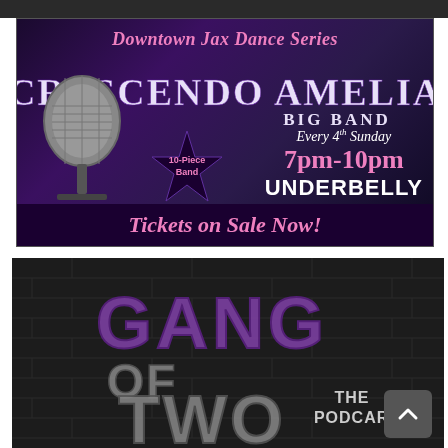[Figure (illustration): Top dark strip with partial social media icon shapes visible]
[Figure (infographic): Downtown Jax Dance Series advertisement featuring Crescendo Amelia Big Band. Purple/dark background with microphone image. Text includes: Downtown Jax Dance Series, Crescendo Amelia Big Band, 10-Piece Band, Every 4th Sunday, 7pm-10pm, UNDERBELLY, Tickets on Sale Now!]
[Figure (logo): Gang of Two: The Podcart logo on dark brick wall background. Large grunge-style text reading GANG OF TWO with THE PODCART in smaller text to the right.]
[Figure (other): Gray square scroll-to-top button with upward chevron arrow in bottom right corner]